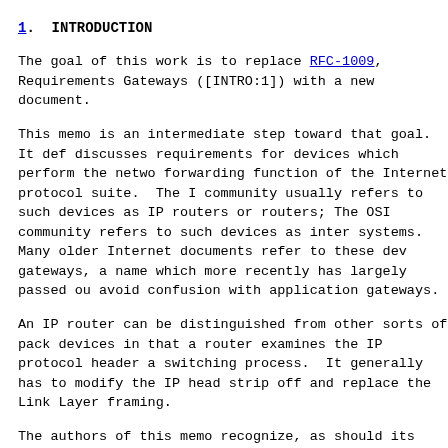1.  INTRODUCTION
The goal of this work is to replace RFC-1009, Requirements for Internet Gateways ([INTRO:1]) with a new document.
This memo is an intermediate step toward that goal. It defines and discusses requirements for devices which perform the network layer forwarding function of the Internet protocol suite.  The Internet community usually refers to such devices as IP routers or simply routers; The OSI community refers to such devices as intermediate systems.  Many older Internet documents refer to these devices as gateways, a name which more recently has largely passed out of use to avoid confusion with application gateways.
An IP router can be distinguished from other sorts of packet switching devices in that a router examines the IP protocol header as part of the switching process.  It generally has to modify the IP header, and to strip off and replace the Link Layer framing.
The authors of this memo recognize, as should its readers, that many routers support multiple protocol suites, and that support for multiple protocol suites will be required in increasingly large parts of the Internet in the future.  This memo, however, does not attempt to specify Internet requirements for protocol suites other than TCP/IP.
This document enumerates standard protocols that a router connected to the Internet must use, and it incorporates by reference the RFCs and other documents describing the current specifications for these protocols.  It corrects errors in the referenced documents and